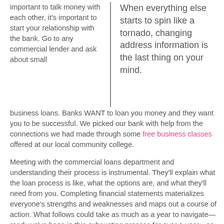important to talk money with each other, it's important to start your relationship with the bank. Go to any commercial lender and ask about small
When everything else starts to spin like a tornado, changing address information is the last thing on your mind.
business loans. Banks WANT to loan you money and they want you to be successful. We picked our bank with help from the connections we had made through some free business classes offered at our local community college.
Meeting with the commercial loans department and understanding their process is instrumental. They'll explain what the loan process is like, what the options are, and what they'll need from you. Completing financial statements materializes everyone's strengths and weaknesses and maps out a course of action. What follows could take as much as a year to navigate—read: we've been in this exhausting process for over a year—so doing this early saves a lot of time. The more people you have on